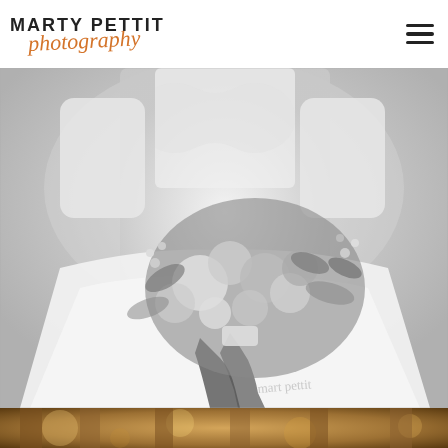[Figure (logo): Marty Pettit Photography logo with bold uppercase text and orange cursive script]
[Figure (photo): Black and white wedding photograph of a bride holding a large floral bouquet, wearing a lace dress with full skirt. Photographer's signature watermark visible in lower right.]
[Figure (photo): Partial view of a second wedding photograph at the bottom, warm toned with bokeh lighting.]